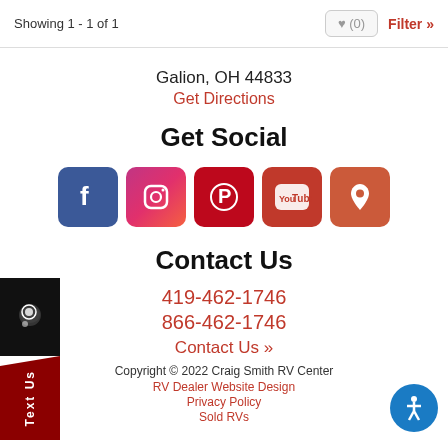Showing 1 - 1 of 1  ♥ (0)  Filter »
Galion, OH 44833
Get Directions
Get Social
[Figure (illustration): Social media icons: Facebook, Instagram, Pinterest, YouTube, Map/Location]
Contact Us
419-462-1746
866-462-1746
Contact Us »
Copyright © 2022 Craig Smith RV Center
RV Dealer Website Design
Privacy Policy
Sold RVs
[Figure (illustration): Text Us chat sidebar button on left]
[Figure (illustration): Accessibility icon (blue circle with person figure)]